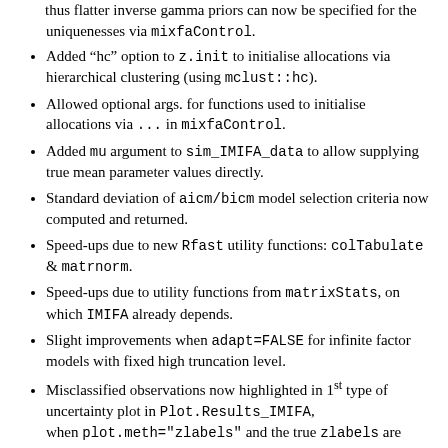thus flatter inverse gamma priors can now be specified for the uniquenesses via mixfaControl.
Added “hc” option to z.init to initialise allocations via hierarchical clustering (using mclust::hc).
Allowed optional args. for functions used to initialise allocations via ... in mixfaControl.
Added mu argument to sim_IMIFA_data to allow supplying true mean parameter values directly.
Standard deviation of aicm/bicm model selection criteria now computed and returned.
Speed-ups due to new Rfast utility functions: colTabulate & matrnorm.
Speed-ups due to utility functions from matrixStats, on which IMIFA already depends.
Slight improvements when adapt=FALSE for infinite factor models with fixed high truncation level.
Misclassified observations now highlighted in 1st type of uncertainty plot in Plot.Results_IMIFA, when plot.meth="zlabels" and the true zlabels are supplied.
mixfaControl gains arg. drop0sd to control removal of zero-variance features (defaults to TRUE).
heat_legend gains cex.lab argument to control magnification of legend text.
metSomlo gains the temperature argument.